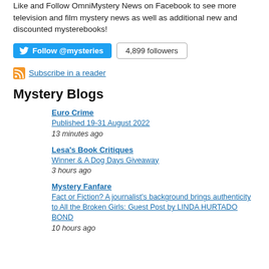Like and Follow OmniMystery News on Facebook to see more television and film mystery news as well as additional new and discounted mysterebooks!
Follow @mysteries   4,899 followers
Subscribe in a reader
Mystery Blogs
Euro Crime
Published 19-31 August 2022
13 minutes ago
Lesa's Book Critiques
Winner & A Dog Days Giveaway
3 hours ago
Mystery Fanfare
Fact or Fiction? A journalist's background brings authenticity to All the Broken Girls: Guest Post by LINDA HURTADO BOND
10 hours ago